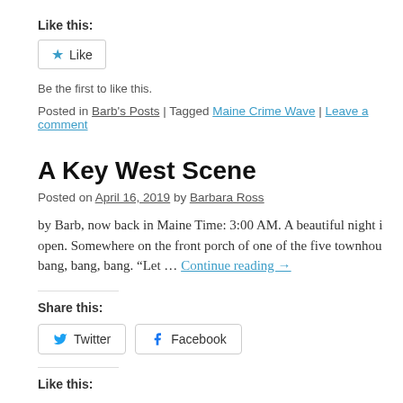Like this:
[Figure (other): Like button with blue star icon]
Be the first to like this.
Posted in Barb's Posts | Tagged Maine Crime Wave | Leave a comment
A Key West Scene
Posted on April 16, 2019 by Barbara Ross
by Barb, now back in Maine Time: 3:00 AM. A beautiful night i… open. Somewhere on the front porch of one of the five townhou… bang, bang, bang. “Let … Continue reading →
Share this:
[Figure (other): Twitter and Facebook share buttons]
Like this: